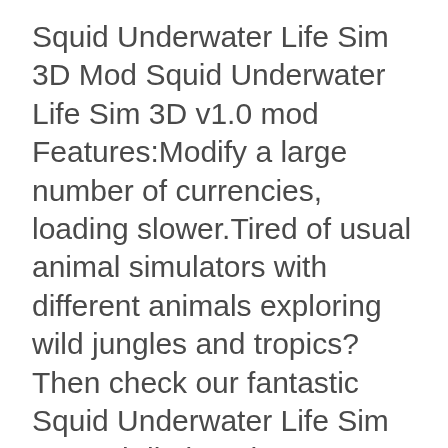Squid Underwater Life Sim 3D Mod Squid Underwater Life Sim 3D v1.0 mod Features:Modify a large number of currencies, loading slower.Tired of usual animal simulators with different animals exploring wild jungles and tropics? Then check our fantastic Squid Underwater Life Sim 3D and dip into the underwater life of this fantastic creature!Dip into the adventurous life bright and clever squid! Hunt fish and crabs, fight every shark and killer whale you can see, mate with other squidss, raise up your spawn and have fun! Live the whole life of a single animal – from the small weak and helpless larva through mature beast to the ghost of the old wise giant squid! Customize your tentacle creature choosing gender, name, and color and become the most dangerous and wild animal ever!Open the